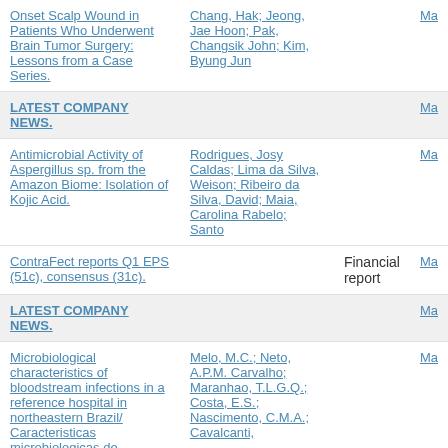| Title | Authors | Type | Link |
| --- | --- | --- | --- |
| Onset Scalp Wound in Patients Who Underwent Brain Tumor Surgery: Lessons from a Case Series. | Chang, Hak; Jeong, Jae Hoon; Pak, Changsik John; Kim, Byung Jun |  | Ma |
| LATEST COMPANY NEWS. |  |  | Ma |
| Antimicrobial Activity of Aspergillus sp. from the Amazon Biome: Isolation of Kojic Acid. | Rodrigues, Josy Caldas; Lima da Silva, Weison; Ribeiro da Silva, David; Maia, Carolina Rabelo; Santo |  | Ma |
| ContraFect reports Q1 EPS (51c), consensus (31c). |  | Financial report | Ma |
| LATEST COMPANY NEWS. |  |  | Ma |
| Microbiological characteristics of bloodstream infections in a reference hospital in northeastern Brazil/ Caracteristicas microbiologicas de infeccoes da corrente... | Melo, M.C.; Neto, A.P.M. Carvalho; Maranhao, T.L.G.Q.; Costa, E.S.; Nascimento, C.M.A.; Cavalcanti, |  | Ma |